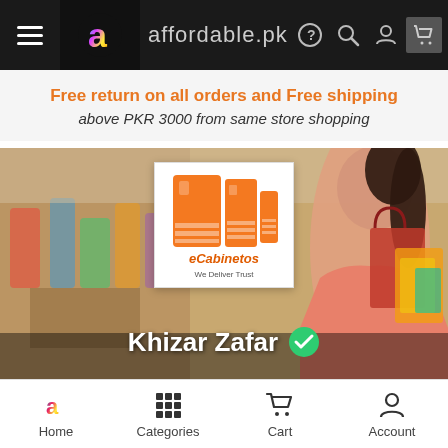[Figure (screenshot): Top navigation bar of affordable.pk website with hamburger menu, logo, brand name, and icons for help, search, account, cart]
Free return on all orders and Free shipping
above PKR 3000 from same store shopping
[Figure (screenshot): Store hero section with eCabinetos store logo (orange cabinet icons with 'We Deliver Trust' tagline) over a blurred shopping background, seller name Khizar Zafar with verified checkmark]
[Figure (screenshot): Bottom navigation bar with Home, Categories, Cart, Account icons]